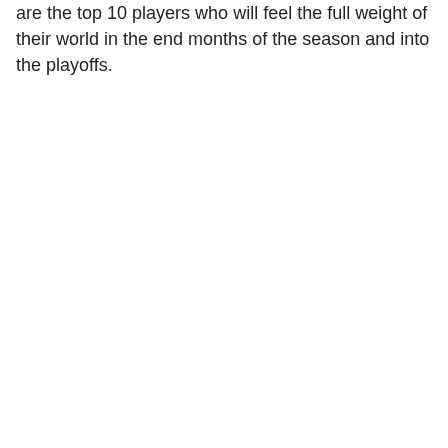are the top 10 players who will feel the full weight of their world in the end months of the season and into the playoffs.